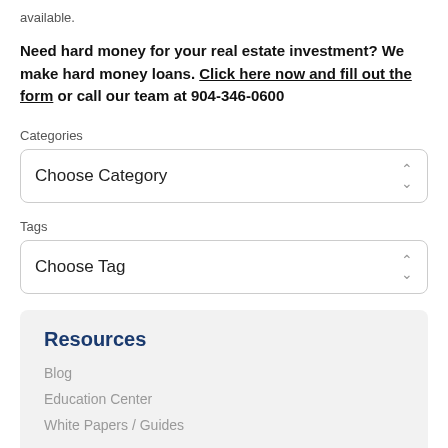available.
Need hard money for your real estate investment? We make hard money loans. Click here now and fill out the form or call our team at 904-346-0600
Categories
[Figure (screenshot): Dropdown selector showing 'Choose Category' with up/down arrow icon]
Tags
[Figure (screenshot): Dropdown selector showing 'Choose Tag' with up/down arrow icon]
Resources
Blog
Education Center
White Papers / Guides